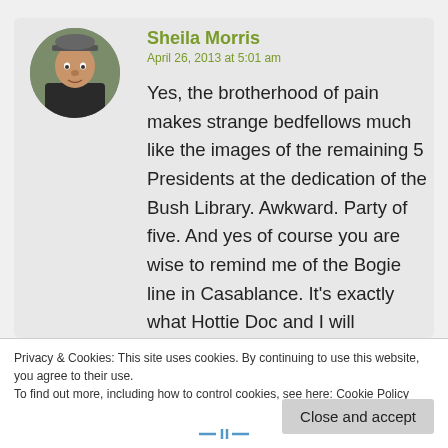[Figure (photo): Circular avatar photo of a person wearing a cap, outdoors]
Sheila Morris
April 26, 2013 at 5:01 am
Yes, the brotherhood of pain makes strange bedfellows much like the images of the remaining 5 Presidents at the dedication of the Bush Library. Awkward. Party of five. And yes of course you are wise to remind me of the Bogie line in Casablance. It’s exactly what Hottie Doc and I will
Privacy & Cookies: This site uses cookies. By continuing to use this website, you agree to their use.
To find out more, including how to control cookies, see here: Cookie Policy
Close and accept